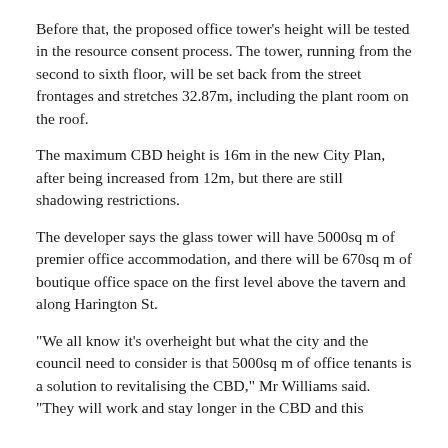Before that, the proposed office tower's height will be tested in the resource consent process. The tower, running from the second to sixth floor, will be set back from the street frontages and stretches 32.87m, including the plant room on the roof.
The maximum CBD height is 16m in the new City Plan, after being increased from 12m, but there are still shadowing restrictions.
The developer says the glass tower will have 5000sq m of premier office accommodation, and there will be 670sq m of boutique office space on the first level above the tavern and along Harington St.
"We all know it's overheight but what the city and the council need to consider is that 5000sq m of office tenants is a solution to revitalising the CBD," Mr Williams said.
"They will work and stay longer in the CBD and this